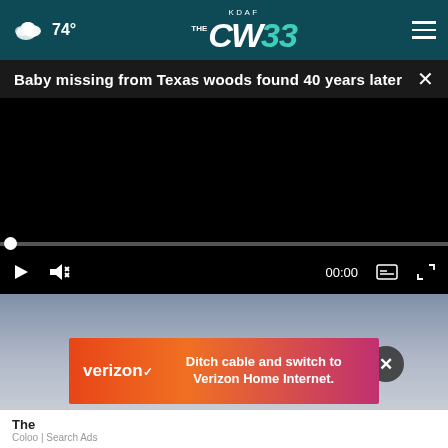74° KDAF CW33
Baby missing from Texas woods found 40 years later
[Figure (screenshot): Video player showing a black screen with playback controls: play button, mute button, timestamp 00:00, captions button, and fullscreen button. A progress bar is shown above the controls.]
[Figure (photo): Partial image of a person below the video player, partially obscured by a Verizon advertisement overlay with text 'Ditch cable and switch to Verizon Home Internet.']
Ditch cable and switch to Verizon Home Internet.
The
Coloo | Search Ads